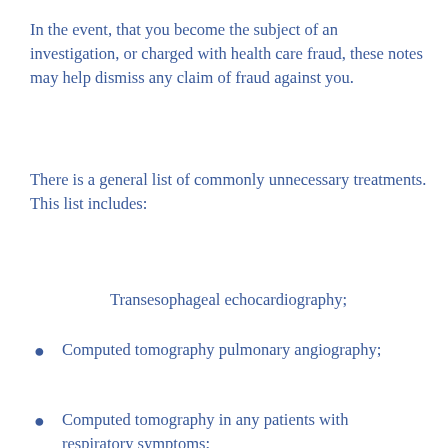In the event, that you become the subject of an investigation, or charged with health care fraud, these notes may help dismiss any claim of fraud against you.
There is a general list of commonly unnecessary treatments. This list includes:
Transesophageal echocardiography;
Computed tomography pulmonary angiography;
Computed tomography in any patients with respiratory symptoms;
Carotid artery ultrasonography and